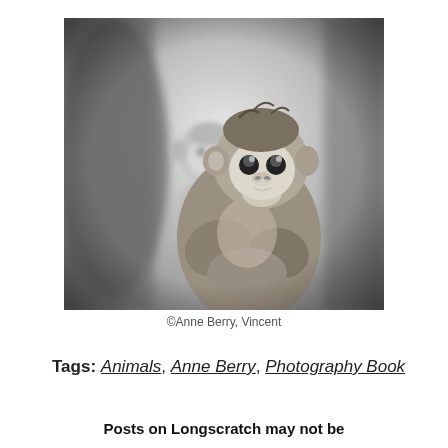[Figure (photo): Black and white photograph of two monkeys (likely leaf monkeys or langurs). One monkey in the foreground faces the camera with wide eyes, hugging its arms to its chest. A second monkey is blurred in the background to the left. The image has a soft bokeh background.]
©Anne Berry, Vincent
Tags: Animals, Anne Berry, Photography Book
Posts on Longscratch may not be